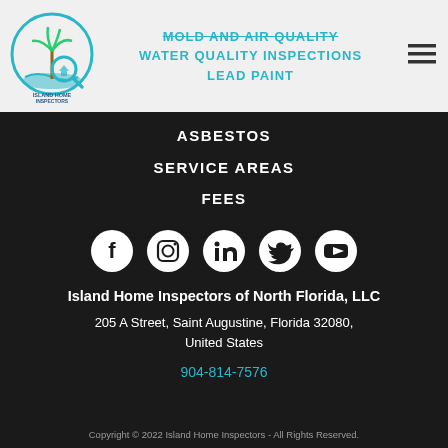[Figure (logo): Island Home Inspectors circular logo with palm tree and magnifying glass]
MOLD AND AIR QUALITY
WATER QUALITY INSPECTIONS
LEAD PAINT
ASBESTOS
SERVICE AREAS
FEES
[Figure (illustration): Social media icons: Facebook, Instagram, LinkedIn, Twitter, YouTube]
Island Home Inspectors of North Florida, LLC
205 A Street, Saint Augustine, Florida 32080, United States
904-814-7576
Copyright © 2022 Island Home Inspectors - All Rights Reserved.